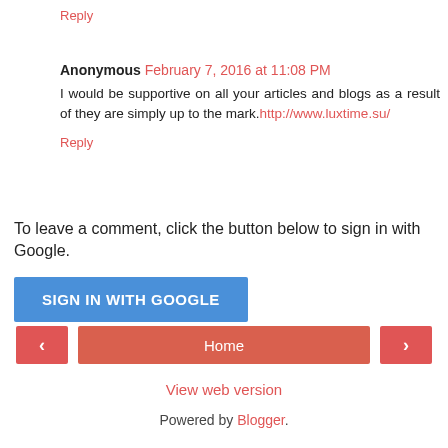Reply
Anonymous February 7, 2016 at 11:08 PM
I would be supportive on all your articles and blogs as a result of they are simply up to the mark.http://www.luxtime.su/
Reply
To leave a comment, click the button below to sign in with Google.
[Figure (other): Blue 'SIGN IN WITH GOOGLE' button]
[Figure (other): Navigation bar with left arrow, Home button, right arrow]
View web version
Powered by Blogger.